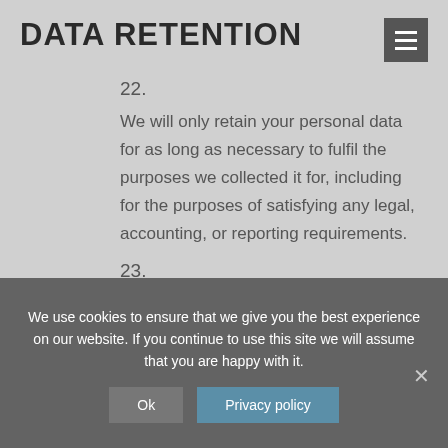DATA RETENTION
22.

We will only retain your personal data for as long as necessary to fulfil the purposes we collected it for, including for the purposes of satisfying any legal, accounting, or reporting requirements.
23.

To determine the appropriate retention period for personal data, we consider the amount, nature, and sensitivity of the personal data, the potential risk of harm from unauthorised use or disclosure of your
We use cookies to ensure that we give you the best experience on our website. If you continue to use this site we will assume that you are happy with it.